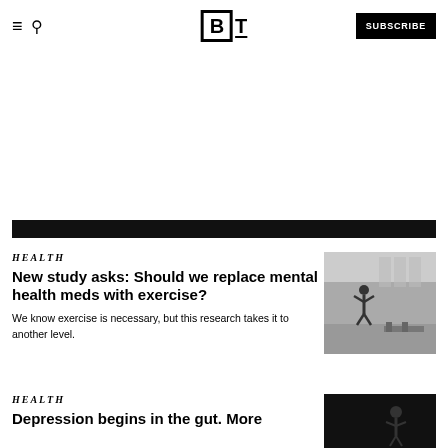≡ 🔍  [B]T  SUBSCRIBE
[Figure (other): Black horizontal bar divider]
HEALTH
New study asks: Should we replace mental health meds with exercise?
We know exercise is necessary, but this research takes it to another level.
[Figure (photo): Grayscale photo of a person jumping in a gym with large windows]
HEALTH
Depression begins in the gut. More